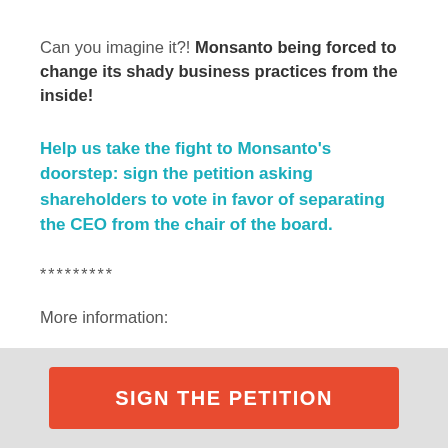Can you imagine it?! Monsanto being forced to change its shady business practices from the inside!
Help us take the fight to Monsanto's doorstep: sign the petition asking shareholders to vote in favor of separating the CEO from the chair of the board.
*********
More information:
SIGN THE PETITION